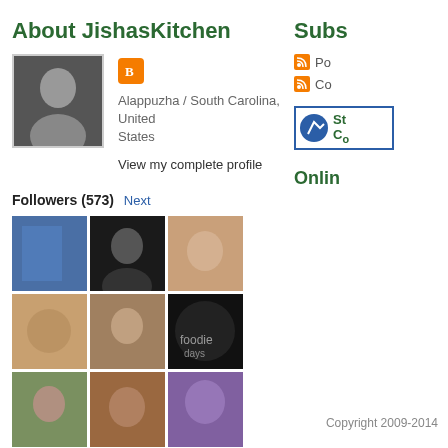About JishasKitchen
Alappuzha / South Carolina, United States
View my complete profile
Followers (573) Next
[Figure (photo): Grid of 20 follower avatar photos in three rows]
Subs
Po
Co
[Figure (logo): StatCounter or similar stats widget logo box]
Onlin
Copyright 2009-2014